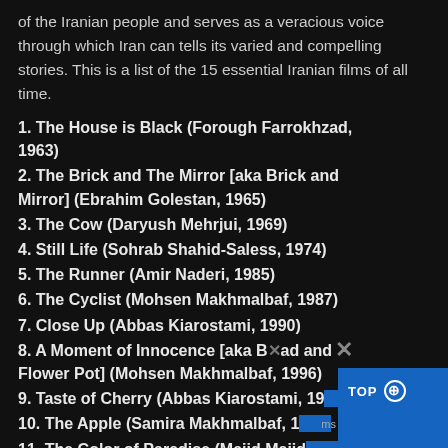of the Iranian people and serves as a veracious voice through which Iran can tells its varied and compelling stories. This is a list of the 15 essential Iranian films of all time.
1. The House is Black (Forough Farrokhzad, 1963)
2. The Brick and The Mirror [aka Brick and Mirror] (Ebrahim Golestan, 1965)
3. The Cow (Daryush Mehrjui, 1969)
4. Still Life (Sohrab Shahid-Saless, 1974)
5. The Runner (Amir Naderi, 1985)
6. The Cyclist (Mohsen Makhmalbaf, 1987)
7. Close Up (Abbas Kiarostami, 1990)
8. A Moment of Innocence [aka Bread and Flower Pot] (Mohsen Makhmalbaf, 1996)
9. Taste of Cherry (Abbas Kiarostami, 1997)
10. The Apple (Samira Makhmalbaf, 1998)
11. The Color of Paradise (Majid Majidi, 1999)